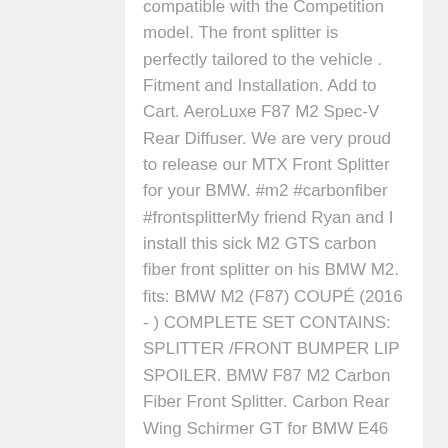compatible with the Competition model. The front splitter is perfectly tailored to the vehicle . Fitment and Installation. Add to Cart. AeroLuxe F87 M2 Spec-V Rear Diffuser. We are very proud to release our MTX Front Splitter for your BMW. #m2 #carbonfiber #frontsplitterMy friend Ryan and I install this sick M2 GTS carbon fiber front splitter on his BMW M2. fits: BMW M2 (F87) COUPÉ (2016 - ) COMPLETE SET CONTAINS: SPLITTER /FRONT BUMPER LIP SPOILER. BMW F87 M2 Carbon Fiber Front Splitter. Carbon Rear Wing Schirmer GT for BMW E46 E90 E92 F80 F87 F82 M2 M3 M4.